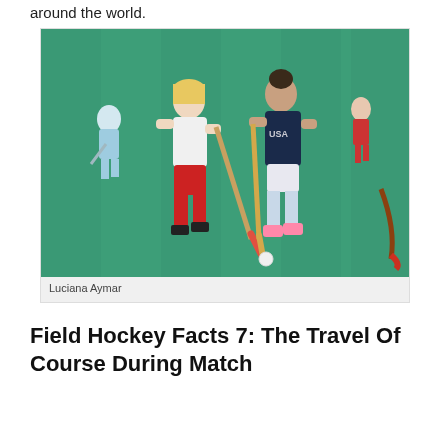around the world.
[Figure (photo): Two female field hockey players competing for the ball on a green turf field. One player in white top and red shorts, another in dark USA jersey and white shorts with pink shoes. Other players visible in background.]
Luciana Aymar
Field Hockey Facts 7: The Travel Of Course During Match